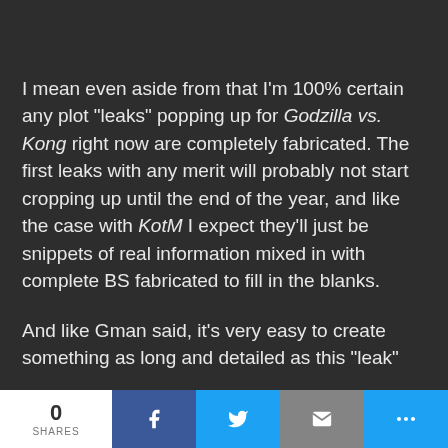I mean even aside from that I'm 100% certain any plot "leaks" popping up for Godzilla vs. Kong right now are completely fabricated. The first leaks with any merit will probably not start cropping up until the end of the year, and like the case with KotM I expect they'll just be snippets of real information mixed in with complete BS fabricated to fill in the blanks.

And like Gman said, it's very easy to create something as long and detailed as this "leak"
0 SHARES | [Facebook] [Twitter] [Email] [More]